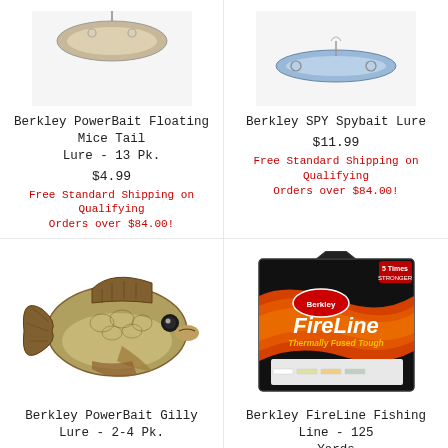[Figure (photo): Berkley PowerBait Floating Mice Tail Lure product image (top left, partially visible at top)]
Berkley PowerBait Floating Mice Tail Lure - 13 Pk.
$4.99
Free Standard Shipping on Qualifying Orders over $84.00!
[Figure (photo): Berkley SPY Spybait Lure product image (top right, partially visible at top)]
Berkley SPY Spybait Lure
$11.99
Free Standard Shipping on Qualifying Orders over $84.00!
[Figure (photo): Berkley PowerBait Gilly Lure - realistic sunfish/bluegill shaped soft bait lure]
Berkley PowerBait Gilly Lure - 2-4 Pk.
$7.99 - $8.99
Free Standard Shipping on Qualifying Orders over $84.00!
[Figure (photo): Berkley FireLine Fishing Line - 125 Yards product box with black and orange design]
Berkley FireLine Fishing Line - 125 Yards
$19.99
Free Standard Shipping on Qualifying Orders over $84.00!